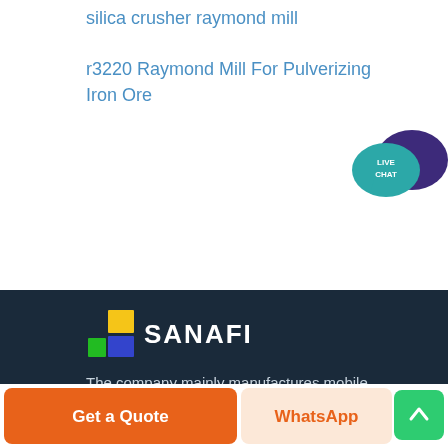silica crusher raymond mill
r3220 Raymond Mill For Pulverizing Iron Ore
[Figure (logo): Live Chat speech bubble icon with teal and dark purple overlapping chat bubbles and 'LIVE CHAT' text]
[Figure (logo): SANAFI company logo with colored squares (yellow, blue, green) and white bold text 'SANAFI' on dark navy background]
The company mainly manufactures mobile crushers, stationary crushers, sand-making machines, grinding mills
Get a Quote
WhatsApp